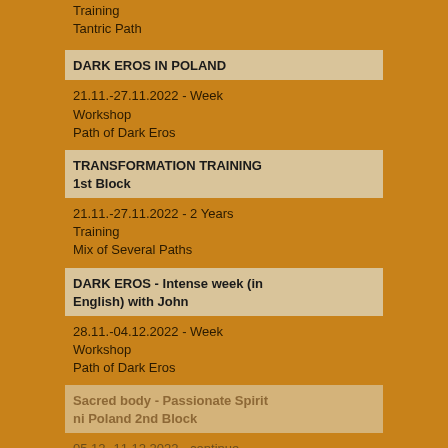Training
Tantric Path
DARK EROS IN POLAND
21.11.-27.11.2022 - Week Workshop
Path of Dark Eros
TRANSFORMATION TRAINING 1st Block
21.11.-27.11.2022 - 2 Years Training
Mix of Several Paths
DARK EROS - Intense week (in English) with John
28.11.-04.12.2022 - Week Workshop
Path of Dark Eros
Sacred body - Passionate Spirit ni Poland 2nd Block
05.12.-11.12.2022 - continue
Tantric Path
TRANSFORMATION TRAINING 8th Block
05.12.-11.12.2022 - continue